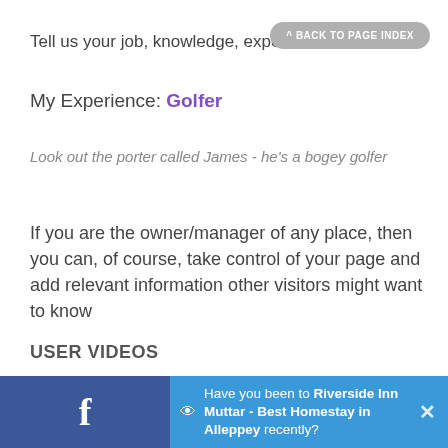Tell us your job, knowledge, experience..
^ BACK TO PAGE INDEX
My Experience: Golfer
Look out the porter called James - he's a bogey golfer
If you are the owner/manager of any place, then you can, of course, take control of your page and add relevant information other visitors might want to know
USER VIDEOS
Webmasters & YouTubers – add a link to this page just link to this pag…
Have you been to Riverside Inn Muttar - Best Homestay in Alleppey recently?